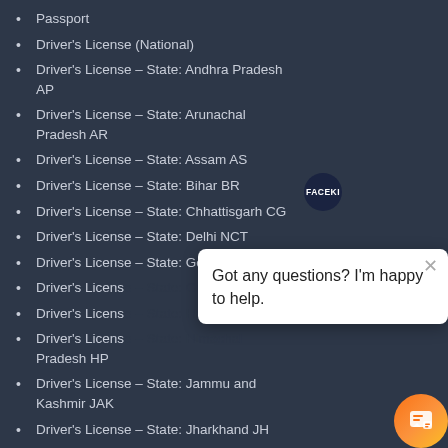Passport
Driver's License (National)
Driver's License – State: Andhra Pradesh AP
Driver's License – State: Arunachal Pradesh AR
Driver's License – State: Assam AS
Driver's License – State: Bihar BR
Driver's License – State: Chhattisgarh CG
Driver's License – State: Delhi NCT
Driver's License – State: Goa GA
Driver's License – State: [partially obscured]
Driver's License – State: [partially obscured]
Driver's License – State: Himachal Pradesh HP
Driver's License – State: Jammu and Kashmir JAK
Driver's License – State: Jharkhand JH
Driver's License – State: Karnataka KA
[Figure (other): Faceki chat widget popup with text 'Got any questions? I'm happy to help.' and orange chat icon button]